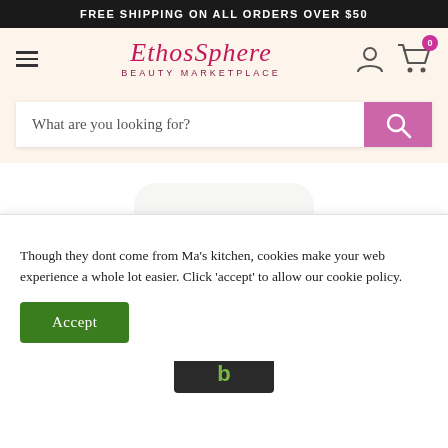FREE SHIPPING ON ALL ORDERS OVER $50
[Figure (logo): EthosSphere Beauty Marketplace logo with hamburger menu, user icon, and cart icon with badge showing 0]
[Figure (screenshot): Search bar with placeholder text 'What are you looking for?' and pink search button]
[Figure (photo): Product image showing a silver pump dispenser top of a beauty/hair product on white background]
Though they dont come from Ma's kitchen, cookies make your web experience a whole lot easier. Click 'accept' to allow our cookie policy.
Accept